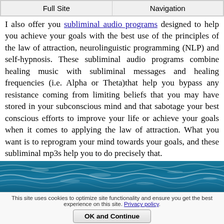Full Site | Navigation
I also offer you subliminal audio programs designed to help you achieve your goals with the best use of the principles of the law of attraction, neurolinguistic programming (NLP) and self-hypnosis. These subliminal audio programs combine healing music with subliminal messages and healing frequencies (i.e. Alpha or Theta)that help you bypass any resistance coming from limiting beliefs that you may have stored in your subconscious mind and that sabotage your best conscious efforts to improve your life or achieve your goals when it comes to applying the law of attraction. What you want is to reprogram your mind towards your goals, and these subliminal mp3s help you to do precisely that.
[Figure (photo): Ocean waves photo — aerial view of blue ocean with white wave crests]
This site uses cookies to optimize site functionality and ensure you get the best experience on this site. Privacy policy. OK and Continue